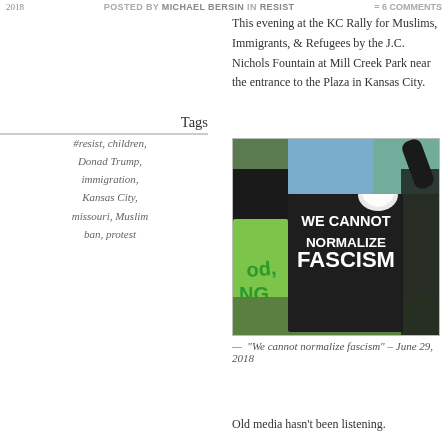2018   POSTED BY MICHAEL BERSIN IN RESIST   = 6 COMMENTS
Tags
#resist, children, Donad Trump, immigration, Kansas City, missouri, Muslim ban, protest
This evening at the KC Rally for Muslims, Immigrants, & Refugees by the J.C. Nichols Fountain at Mill Creek Park near the entrance to the Plaza in Kansas City.
[Figure (photo): Person holding a dark sign reading 'WE CANNOT NORMALIZE FASCISM' with a woman in a white hijab visible in the background at an outdoor rally. A yellow-green sign is partially visible on the left.]
— “We cannot normalize fascism” – June 29, 2018
Old media hasn’t been listening.